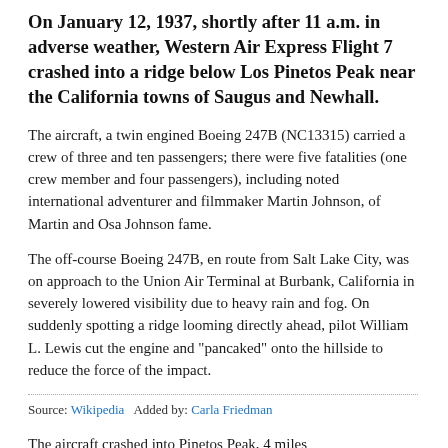On January 12, 1937, shortly after 11 a.m. in adverse weather, Western Air Express Flight 7 crashed into a ridge below Los Pinetos Peak near the California towns of Saugus and Newhall.
The aircraft, a twin engined Boeing 247B (NC13315) carried a crew of three and ten passengers; there were five fatalities (one crew member and four passengers), including noted international adventurer and filmmaker Martin Johnson, of Martin and Osa Johnson fame.
The off-course Boeing 247B, en route from Salt Lake City, was on approach to the Union Air Terminal at Burbank, California in severely lowered visibility due to heavy rain and fog. On suddenly spotting a ridge looming directly ahead, pilot William L. Lewis cut the engine and "pancaked" onto the hillside to reduce the force of the impact.
Source: Wikipedia   Added by: Carla Friedman
The aircraft crashed into Pinetos Peak, 4 miles